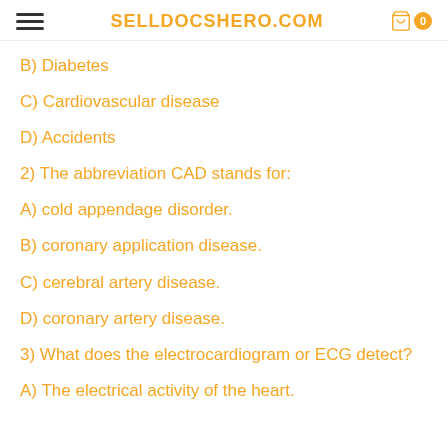SELLDOCSHERO.COM
B) Diabetes
C) Cardiovascular disease
D) Accidents
2) The abbreviation CAD stands for:
A) cold appendage disorder.
B) coronary application disease.
C) cerebral artery disease.
D) coronary artery disease.
3) What does the electrocardiogram or ECG detect?
A) The electrical activity of the heart.